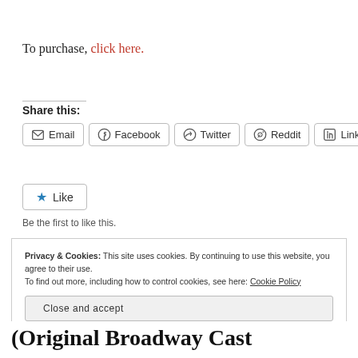To purchase, click here.
Share this:
[Figure (infographic): Row of social sharing buttons: Email, Facebook, Twitter, Reddit, LinkedIn]
[Figure (infographic): Like button with star icon and 'Be the first to like this.' text below]
Be the first to like this.
Privacy & Cookies: This site uses cookies. By continuing to use this website, you agree to their use.
To find out more, including how to control cookies, see here: Cookie Policy
Close and accept
(Original Broadway Cast